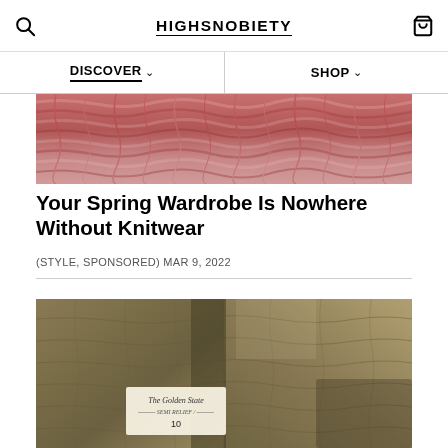HIGHSNOBIETY
DISCOVER  SHOP
[Figure (photo): Close-up of pink/red knitted fabric texture]
Your Spring Wardrobe Is Nowhere Without Knitwear
(STYLE, SPONSORED) MAR 9, 2022
[Figure (photo): Close-up of an olive/khaki quilted jacket lining showing 'The Golden State' label]